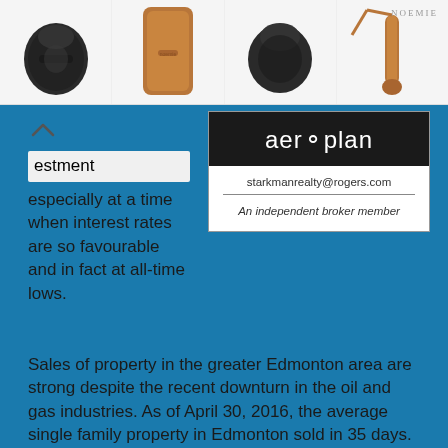[Figure (photo): Top bar showing four product images (leather cases/accessories) against white background, with NOEMIE logo in top right]
estment especially at a time when interest rates are so favourable and in fact at all-time lows.
[Figure (other): Advertisement box with Aeroplan logo on black header, email starkmanrealty@rogers.com, and text 'An independent broker member']
Sales of property in the greater Edmonton area are strong despite the recent downturn in the oil and gas industries. As of April 30, 2016, the average single family property in Edmonton sold in 35 days. Condos listed sold in 45 days. Inventory levels in Edmonton's market are up by as much as 18%; however, single family residential homes are still selling faster than they were one year ago.